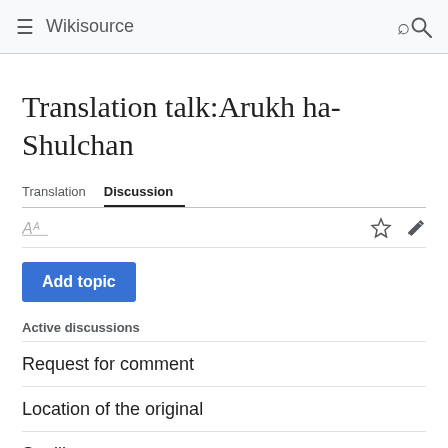Wikisource
Translation talk:Arukh ha-Shulchan
Translation  Discussion
[Figure (other): Toolbar row with translate icon, star icon, and pencil/edit icon]
Add topic
Active discussions
Request for comment
Location of the original
Spelling